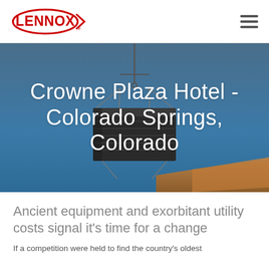Lennox
[Figure (photo): HVAC rooftop unit being lifted by crane against a blue sky, with a sandy rooftop edge visible at the bottom. Title overlay reads: Crowne Plaza Hotel - Colorado Springs, Colorado]
Crowne Plaza Hotel - Colorado Springs, Colorado
Ancient equipment and exorbitant utility costs signal it’s time for a change
If a competition were held to find the country’s oldest